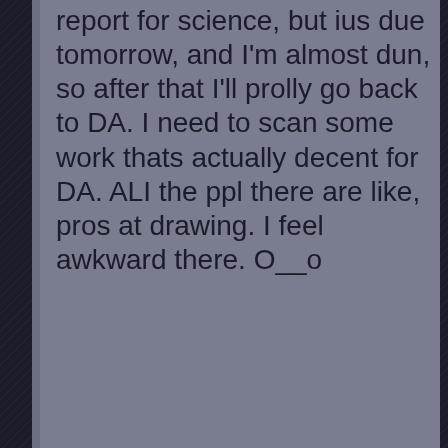report for science, but ius due tomorrow, and I'm almost dun, so after that I'll prolly go back to DA. I need to scan some work thats actually decent for DA. ALI the ppl there are like, pros at drawing. I feel awkward there. O__o
I'm happy tho, my mom signed me up for this comic drawing class. apparently